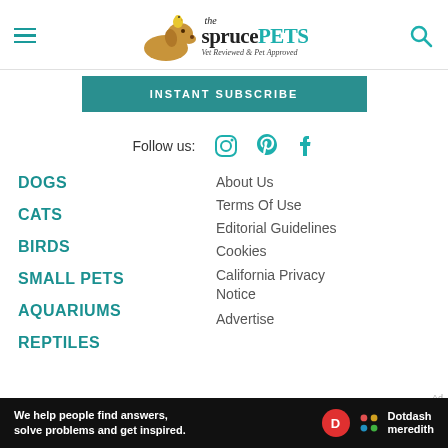the spruce PETS — Vet Reviewed & Pet Approved
INSTANT SUBSCRIBE
Follow us:
DOGS
CATS
BIRDS
SMALL PETS
AQUARIUMS
REPTILES
About Us
Terms Of Use
Editorial Guidelines
Cookies
California Privacy Notice
Advertise
We help people find answers, solve problems and get inspired. Dotdash meredith